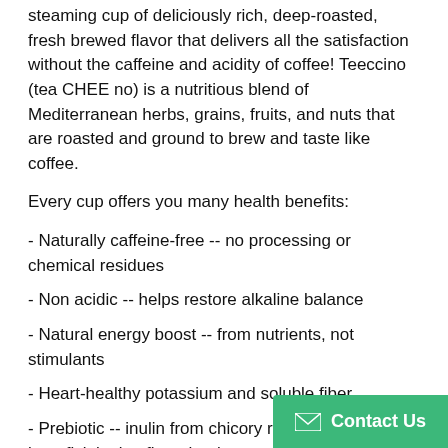steaming cup of deliciously rich, deep-roasted, fresh brewed flavor that delivers all the satisfaction without the caffeine and acidity of coffee! Teeccino (tea CHEE no) is a nutritious blend of Mediterranean herbs, grains, fruits, and nuts that are roasted and ground to brew and taste like coffee.
Every cup offers you many health benefits:
- Naturally caffeine-free -- no processing or chemical residues
- Non acidic -- helps restore alkaline balance
- Natural energy boost -- from nutrients, not stimulants
- Heart-healthy potassium and soluble fiber
- Prebiotic -- inulin from chicory root supports beneficial microflora that improve digestion, elimination, and intestinal health.
Enjoy Teeccino Many Ways: Tips for Coffee Drinkers: Blend Teeccino with coffee to make a robust brew with reduced caffeine and acidity. Or, drink Teeccino in…